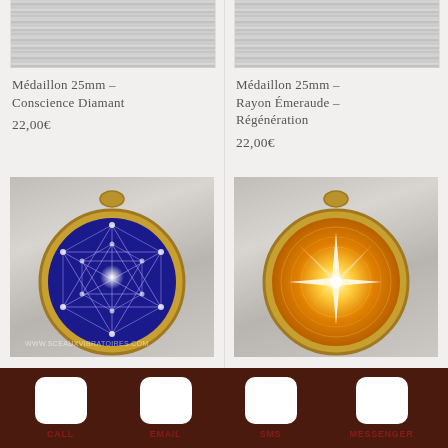[Figure (photo): Brushed metal texture cropped product image top (left column)]
[Figure (photo): Brushed metal texture cropped product image top (right column)]
Médaillon 25mm – Conscience Diamant
22,00€
Médaillon 25mm – Rayon Émeraude – Régénération
22,00€
[Figure (photo): Medallion pendant with blue background showing Metatron's Cube sacred geometry pattern, gold frame, on brushed metal background]
[Figure (photo): Medallion pendant with golden/orange glowing star burst design, gold frame, on brushed metal background]
CALL  EMAIL  SMS  MESSENGER